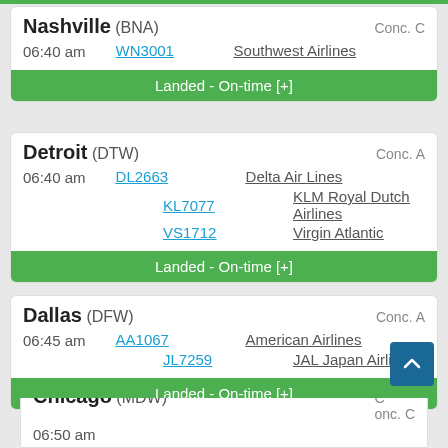Nashville (BNA) — Conc. C | 06:40 am | WN3001 Southwest Airlines | Landed - On-time [+]
Detroit (DTW) — Conc. A | 06:40 am | DL2663 Delta Air Lines | KL7077 KLM Royal Dutch Airlines | VS1712 Virgin Atlantic | Landed - On-time [+]
Dallas (DFW) — Conc. A | 06:45 am | AA1067 American Airlines | JL7259 JAL Japan Airlines | Landed - On-time [+]
Chicago (MDW) — Conc. C | 06:50 am | ...